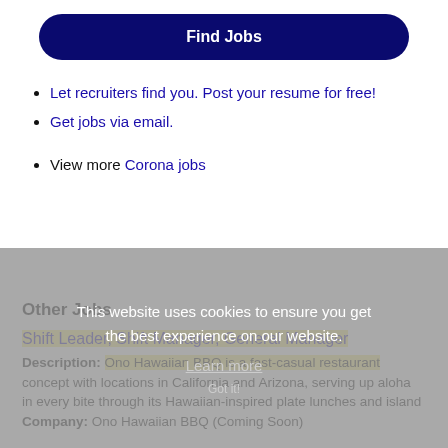Find Jobs
Let recruiters find you. Post your resume for free!
Get jobs via email.
View more Corona jobs
This website uses cookies to ensure you get the best experience on our website. Learn more
Other Jobs
Shift Leader, Shift Manager, General Manager
Description: Ono Hawaiian BBQ is a fast-casual restaurant concept with locations in California and Arizona, serving up aloha in every bite through its Hawaiian-inspired plate lunches and island
Company: Ono Hawaiian BBQ (Coming Soon)